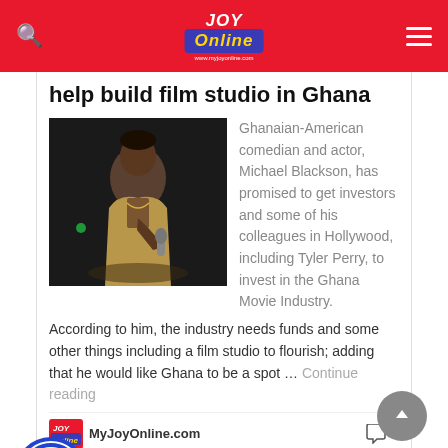JOY Online - MyJoyOnline.com
help build film studio in Ghana
[Figure (photo): Michael Blackson performing on stage, holding a microphone, wearing a tan/gold jacket]
Ghanaian-American comedian and actor, Michael Blackson, has promised to get investors and some of his colleagues in Hollywood, including Tyler Perry, to invest in the Ghana Movie Industry. According to him, the industry needs funds and some other things including a film studio to flourish; adding that he would like Ghana to be a spot … Continue reading
MyJoyOnline.com  0
Before this, movie actor and comedian Michael